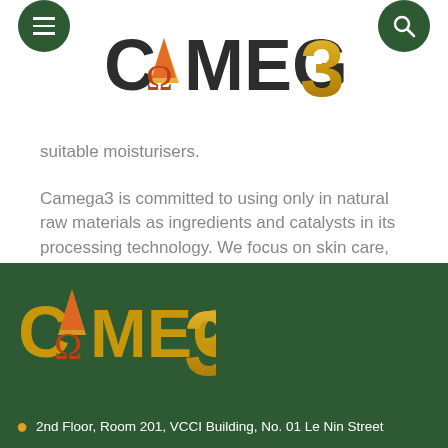[Figure (logo): Camega3 brand logo in header — stylized text with omega symbol and golden '3' on white background with green circular menu and search icons]
suitable moisturisers.
Camega3 is committed to using only in natural raw materials as ingredients and catalysts in its processing technology. We focus on skin care, hair care, lip care, and nail care products.
[Figure (logo): Camega3 brand logo in footer — stylized text with omega symbol and golden '3' on dark green background]
2nd Floor, Room 201, VCCI Building, No. 01 Le Nin Street